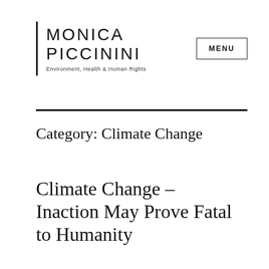MONICA PICCININI — Environment, Health & Human Rights
Category: Climate Change
Climate Change – Inaction May Prove Fatal to Humanity